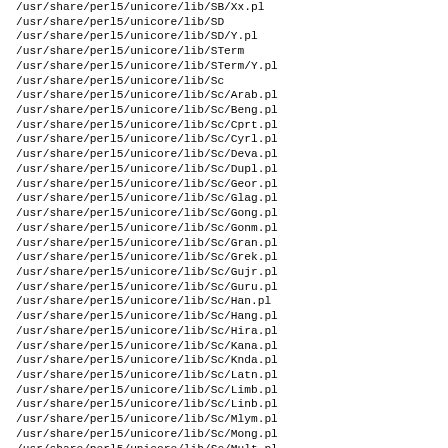/usr/share/perl5/unicore/lib/SB/Xx.pl
/usr/share/perl5/unicore/lib/SD
/usr/share/perl5/unicore/lib/SD/Y.pl
/usr/share/perl5/unicore/lib/STerm
/usr/share/perl5/unicore/lib/STerm/Y.pl
/usr/share/perl5/unicore/lib/Sc
/usr/share/perl5/unicore/lib/Sc/Arab.pl
/usr/share/perl5/unicore/lib/Sc/Beng.pl
/usr/share/perl5/unicore/lib/Sc/Cprt.pl
/usr/share/perl5/unicore/lib/Sc/Cyrl.pl
/usr/share/perl5/unicore/lib/Sc/Deva.pl
/usr/share/perl5/unicore/lib/Sc/Dupl.pl
/usr/share/perl5/unicore/lib/Sc/Geor.pl
/usr/share/perl5/unicore/lib/Sc/Glag.pl
/usr/share/perl5/unicore/lib/Sc/Gong.pl
/usr/share/perl5/unicore/lib/Sc/Gonm.pl
/usr/share/perl5/unicore/lib/Sc/Gran.pl
/usr/share/perl5/unicore/lib/Sc/Grek.pl
/usr/share/perl5/unicore/lib/Sc/Gujr.pl
/usr/share/perl5/unicore/lib/Sc/Guru.pl
/usr/share/perl5/unicore/lib/Sc/Han.pl
/usr/share/perl5/unicore/lib/Sc/Hang.pl
/usr/share/perl5/unicore/lib/Sc/Hira.pl
/usr/share/perl5/unicore/lib/Sc/Kana.pl
/usr/share/perl5/unicore/lib/Sc/Knda.pl
/usr/share/perl5/unicore/lib/Sc/Latn.pl
/usr/share/perl5/unicore/lib/Sc/Limb.pl
/usr/share/perl5/unicore/lib/Sc/Linb.pl
/usr/share/perl5/unicore/lib/Sc/Mlym.pl
/usr/share/perl5/unicore/lib/Sc/Mong.pl
/usr/share/perl5/unicore/lib/Sc/Mult.pl